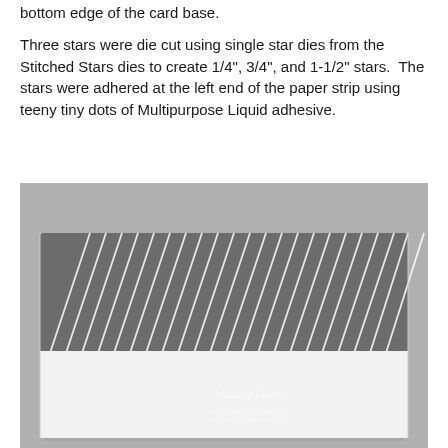bottom edge of the card base.
Three stars were die cut using single star dies from the Stitched Stars dies to create 1/4", 3/4", and 1-1/2" stars.  The stars were adhered at the left end of the paper strip using teeny tiny dots of Multipurpose Liquid adhesive.
[Figure (photo): A white card base with a dark grey/silver patterned paper strip with diagonal white lines adhered to the top portion. The card sits on a light surface. A watermark reading 'Mickey Davis' and 'Independent Stampin' Up! demonstrator' is visible on the card.]